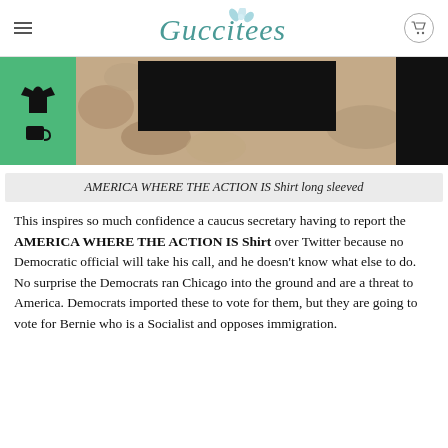Guccitees
[Figure (photo): Product image showing a black long-sleeved shirt on a stone background, with a green thumbnail on the left showing shirt and accessories]
AMERICA WHERE THE ACTION IS Shirt long sleeved
This inspires so much confidence a caucus secretary having to report the AMERICA WHERE THE ACTION IS Shirt over Twitter because no Democratic official will take his call, and he doesn't know what else to do. No surprise the Democrats ran Chicago into the ground and are a threat to America. Democrats imported these to vote for them, but they are going to vote for Bernie who is a Socialist and opposes immigration.